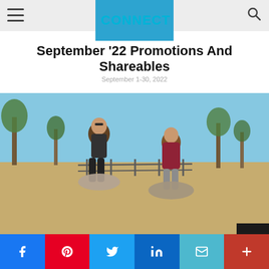AdvoCare Connect
September '22 Promotions And Shareables
September 1-30, 2022
[Figure (photo): Two women sitting outdoors on rocks, laughing and talking, in casual athletic wear, with trees and a fence in the background under a blue sky.]
Share buttons: Facebook, Pinterest, Twitter, LinkedIn, Email, More